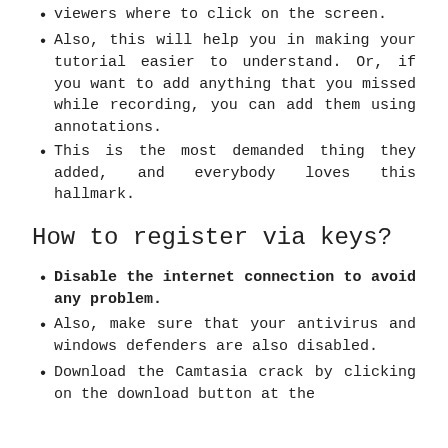viewers where to click on the screen.
Also, this will help you in making your tutorial easier to understand. Or, if you want to add anything that you missed while recording, you can add them using annotations.
This is the most demanded thing they added, and everybody loves this hallmark.
How to register via keys?
Disable the internet connection to avoid any problem.
Also, make sure that your antivirus and windows defenders are also disabled.
Download the Camtasia crack by clicking on the download button at the